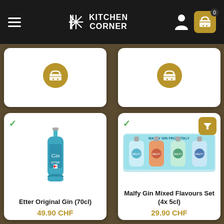Kitchen Corner
[Figure (screenshot): Top-left product card with gold basket button, no product image visible]
[Figure (screenshot): Top-right product card with gold basket button, no product image visible]
[Figure (photo): Etter Original Gin 70cl - blue bottle of gin with Swiss cross label]
Etter Original Gin (70cl)
49.90 CHF
[Figure (photo): Malfy Gin Mixed Flavours Set (4x 5cl) - four small gin bottles in a box]
Malfy Gin Mixed Flavours Set (4x 5cl)
29.90 CHF